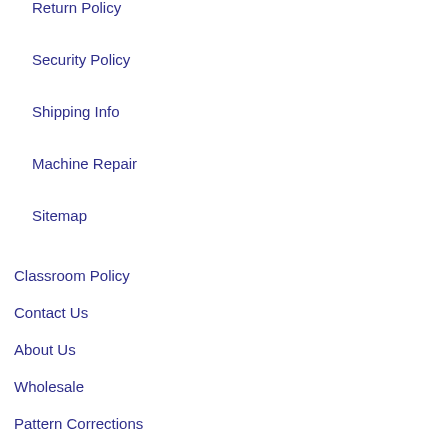Return Policy
Security Policy
Shipping Info
Machine Repair
Sitemap
Classroom Policy
Contact Us
About Us
Wholesale
Pattern Corrections
Northern Threads Quilting Service
Local Quilting Service
Contact
Toll Free: